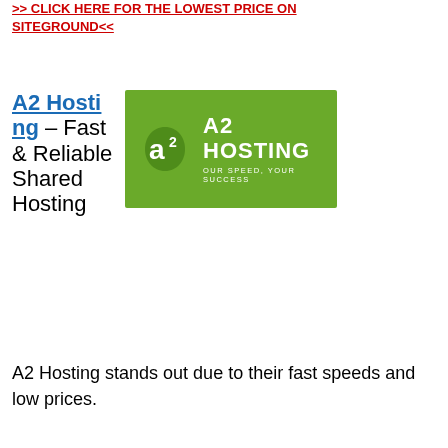>> CLICK HERE FOR THE LOWEST PRICE ON SITEGROUND<<
A2 Hosting – Fast & Reliable Shared Hosting
[Figure (logo): A2 Hosting logo on green background with tagline OUR SPEED, YOUR SUCCESS]
A2 Hosting stands out due to their fast speeds and low prices.